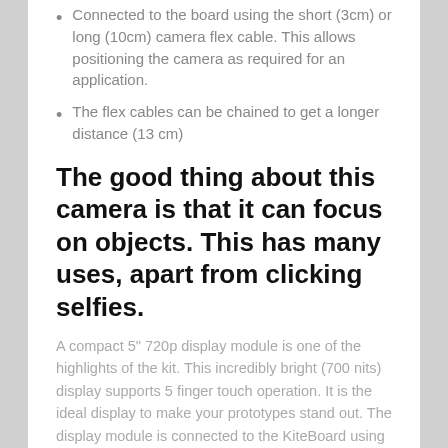Connected to the board using the short (3cm) or long (10cm) camera flex cable. This allows positioning the camera as required for an application.
The flex cables can be chained to get a longer distance (13 cm)
The good thing about this camera is that it can focus on objects. This has many uses, apart from clicking selfies.
A compact 5" 720p display module is one of the highlights of the kit. This incredibly bright (700 nits) display supports 5 finger touch operation. It is the ideal display to make your prototypes stand out. The display module is connected to the KiteBoard using an intermediate display adapter board. The display adapter board connects to Kite with another flex